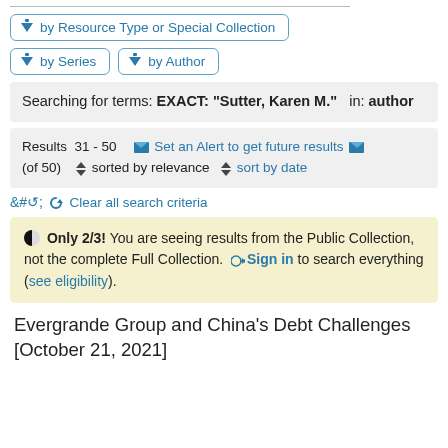▼ by Resource Type or Special Collection
▼ by Series   ▼ by Author
Searching for terms: EXACT: "Sutter, Karen M."  in: author
Results 31 - 50   ✉ Set an Alert to get future results ✉  (of 50)   ⇕ sorted by relevance  ⇕ sort by date
↺ Clear all search criteria
◑ Only 2/3! You are seeing results from the Public Collection, not the complete Full Collection. ➡ Sign in to search everything (see eligibility).
Evergrande Group and China's Debt Challenges [October 21, 2021]